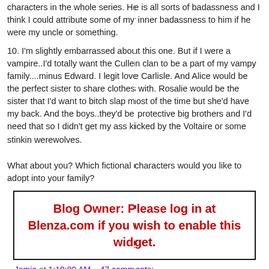characters in the whole series. He is all sorts of badassness and I think I could attribute some of my inner badassness to him if he were my uncle or something.
10. I'm slightly embarrassed about this one. But if I were a vampire..I'd totally want the Cullen clan to be a part of my vampy family....minus Edward. I legit love Carlisle. And Alice would be the perfect sister to share clothes with. Rosalie would be the sister that I'd want to bitch slap most of the time but she'd have my back. And the boys..they'd be protective big brothers and I'd need that so I didn't get my ass kicked by the Voltaire or some stinkin werewolves.
What about you? Which fictional characters would you like to adopt into your family?
Blog Owner: Please log in at Blenza.com if you wish to enable this widget.
Jamie at 1:10:00 AM    47 comments: